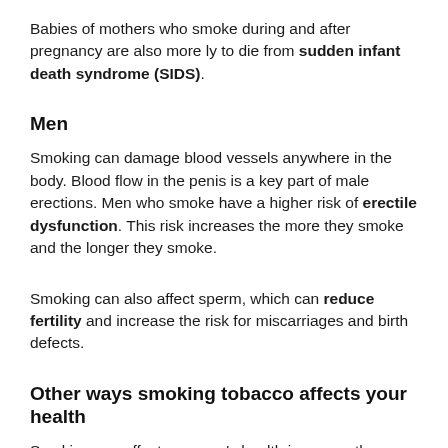Babies of mothers who smoke during and after pregnancy are also more ly to die from sudden infant death syndrome (SIDS).
Men
Smoking can damage blood vessels anywhere in the body. Blood flow in the penis is a key part of male erections. Men who smoke have a higher risk of erectile dysfunction. This risk increases the more they smoke and the longer they smoke.
Smoking can also affect sperm, which can reduce fertility and increase the risk for miscarriages and birth defects.
Other ways smoking tobacco affects your health
Smoking can affect a person's health in many other ways as well, harming nearly every organ in the body. Here are a few examples of other ways smoking tobacco can affect your health: